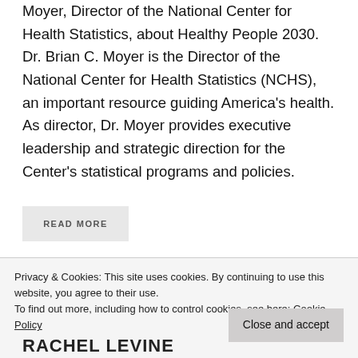Moyer, Director of the National Center for Health Statistics, about Healthy People 2030. Dr. Brian C. Moyer is the Director of the National Center for Health Statistics (NCHS), an important resource guiding America's health. As director, Dr. Moyer provides executive leadership and strategic direction for the Center's statistical programs and policies.
READ MORE
Editor's Podcast    Healthy People 2030    Podcasts
Privacy & Cookies: This site uses cookies. By continuing to use this website, you agree to their use.
To find out more, including how to control cookies, see here: Cookie Policy
Close and accept
RACHEL LEVINE